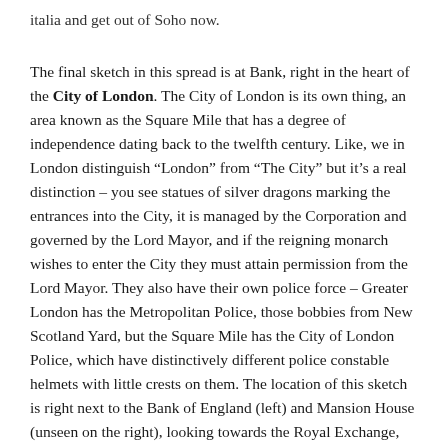italia and get out of Soho now.
The final sketch in this spread is at Bank, right in the heart of the City of London. The City of London is its own thing, an area known as the Square Mile that has a degree of independence dating back to the twelfth century. Like, we in London distinguish “London” from “The City” but it’s a real distinction – you see statues of silver dragons marking the entrances into the City, it is managed by the Corporation and governed by the Lord Mayor, and if the reigning monarch wishes to enter the City they must attain permission from the Lord Mayor. They also have their own police force – Greater London has the Metropolitan Police, those bobbies from New Scotland Yard, but the Square Mile has the City of London Police, which have distinctively different police constable helmets with little crests on them. The location of this sketch is right next to the Bank of England (left) and Mansion House (unseen on the right), looking towards the Royal Exchange, and a whole load of